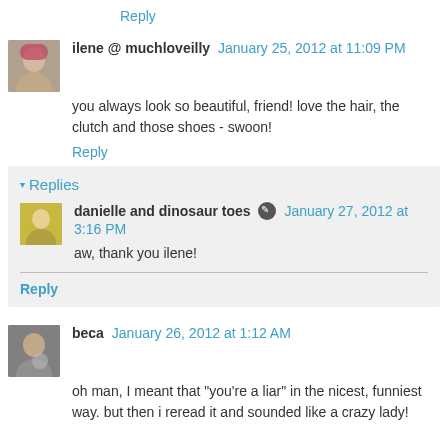Reply
ilene @ muchloveilly  January 25, 2012 at 11:09 PM
you always look so beautiful, friend! love the hair, the clutch and those shoes - swoon!
Reply
Replies
danielle and dinosaur toes  January 27, 2012 at 3:16 PM
aw, thank you ilene!
Reply
beca  January 26, 2012 at 1:12 AM
oh man, I meant that "you're a liar" in the nicest, funniest way. but then i reread it and sounded like a crazy lady!